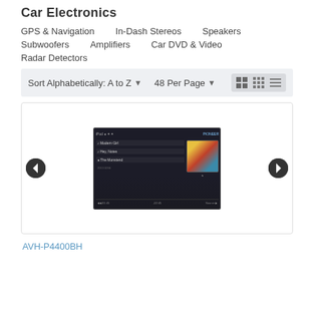Car Electronics
GPS & Navigation
In-Dash Stereos
Speakers
Subwoofers
Amplifiers
Car DVD & Video
Radar Detectors
Sort Alphabetically: A to Z ▾   48 Per Page ▾
[Figure (screenshot): Car stereo product listing page showing an in-dash Pioneer AVH-P4400BH head unit with touchscreen display showing iPod music list with album art. Navigation arrows on left and right sides of product card.]
AVH-P4400BH